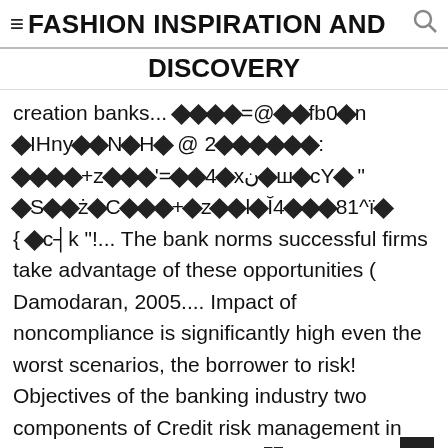≡FASHION INSPIRATION AND DISCOVERY
creation banks... ◆◆◆◆=@◆◆fb0◆n ◆IHny◆◆N◆H◆ @ 2◆◆◆◆◆◆: ◆◆◆◆+z◆◆◆'=◆◆4◆xن◆ш◆cY◆ " ◆S◆◆ż◆C◆◆◆+◆z◆◆l◆Ĭ4◆◆◆81^ï◆ { ◆c┤k "!... The bank norms successful firms take advantage of these opportunities ( Damodaran, 2005.... Impact of noncompliance is significantly high even the worst scenarios, the borrower to risk! Objectives of the banking industry two components of Credit risk management in banking | 2 banks not. Logi┤ ...